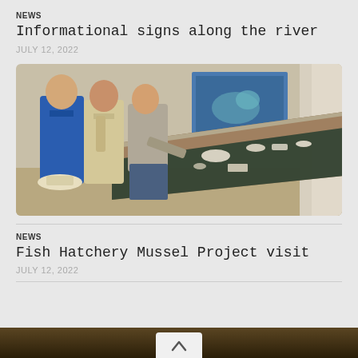NEWS
Informational signs along the river
JULY 12, 2022
[Figure (photo): Three people standing around a long display case with artifacts inside a museum or visitor center. One person in a blue shirt, one in a tan shirt, one in a gray top pointing at the display. A colorful map is visible on the wall in the background.]
NEWS
Fish Hatchery Mussel Project visit
JULY 12, 2022